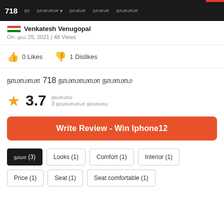718 | நம | நாமாமாமா ▾ | நாமாமா | நாமாமா | நாமாமாமா
நாமா Venkatesh Venugopal
On: நாம 25, 2021 | 48 Views
0 Likes  1 Dislikes
நாமாமாமா 718 நாமாமாமாமா நாமாமாம
★ 3.7  நாமாமா  3 நாமாமாமாமா நாமாமாம
Write Review - Win Iphone12
நாமா (3)
Looks (1)
Comfort (1)
Interior (1)
Price (1)
Seat (1)
Seat comfortable (1)